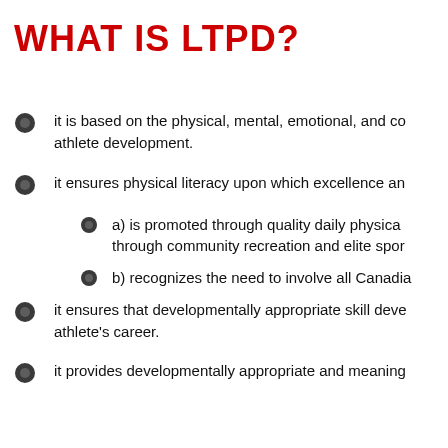WHAT IS LTPD?
it is based on the physical, mental, emotional, and co athlete development.
it ensures physical literacy upon which excellence an
a) is promoted through quality daily physica through community recreation and elite spor
b) recognizes the need to involve all Canadia
it ensures that developmentally appropriate skill deve athlete's career.
it provides developmentally appropriate and meaning